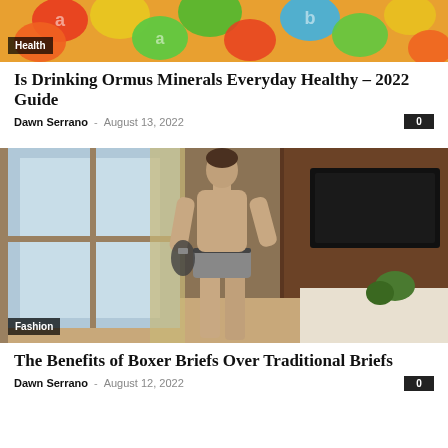[Figure (photo): Colorful round vitamin/mineral supplement capsules in orange, green, and red colors]
Health
Is Drinking Ormus Minerals Everyday Healthy – 2022 Guide
Dawn Serrano  –  August 13, 2022   0
[Figure (photo): Athletic man in boxer briefs standing by a window in a hotel room with a TV in the background]
Fashion
The Benefits of Boxer Briefs Over Traditional Briefs
Dawn Serrano  –  August 12, 2022   0